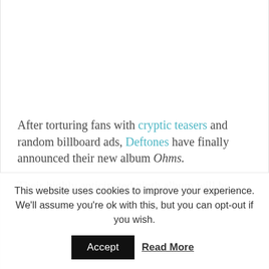After torturing fans with cryptic teasers and random billboard ads, Deftones have finally announced their new album Ohms.
Their highly anticipated ninth album will be
This website uses cookies to improve your experience. We'll assume you're ok with this, but you can opt-out if you wish.
Accept   Read More